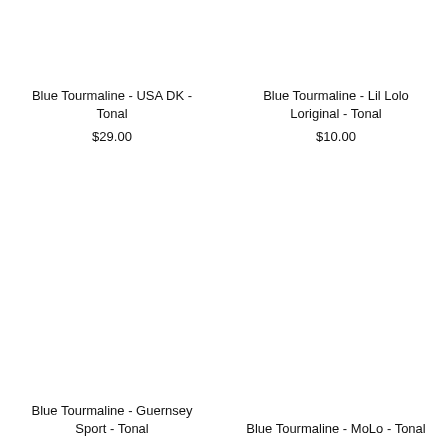Blue Tourmaline - USA DK - Tonal
$29.00
Blue Tourmaline - Lil Lolo Loriginal - Tonal
$10.00
Blue Tourmaline - Guernsey Sport - Tonal
Blue Tourmaline - MoLo - Tonal